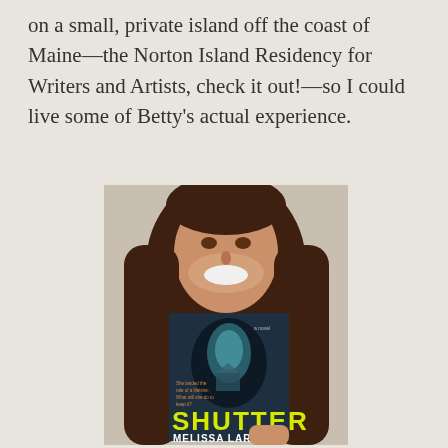on a small, private island off the coast of Maine—the Norton Island Residency for Writers and Artists, check it out!—so I could live some of Betty's actual experience.
[Figure (photo): A young woman with long brown hair smiling and holding up a book titled 'Shutter' by Melissa Larsen. The book cover shows a dark silhouette of a woman's head with a forest/house scene inside it. The book title 'SHUTTER' is in large yellow letters and 'MELISSA LARSEN' is in white below. There is a blurb at the bottom of the cover.]